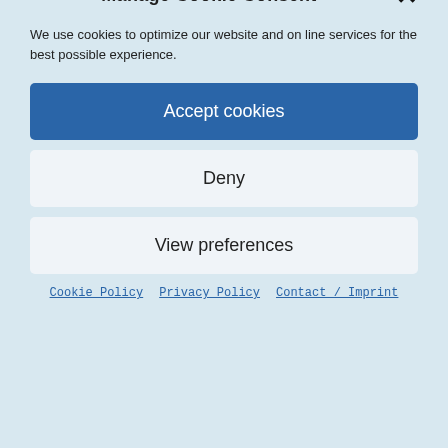ASIL TOKSAL
energy settle.
– It is recommended that you eat light the day of the session or maybe skip the coffee or big meal
Manage Cookie Consent
We use cookies to optimize our website and online services for the best possible experience.
Accept cookies
Deny
View preferences
Cookie Policy  Privacy Policy  Contact / Imprint